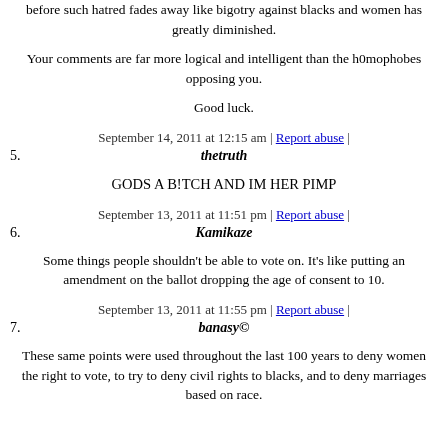before such hatred fades away like bigotry against blacks and women has greatly diminished.
Your comments are far more logical and intelligent than the h0mophobes opposing you.
Good luck.
September 14, 2011 at 12:15 am | Report abuse |
5. thetruth
GODS A B!TCH AND IM HER PIMP
September 13, 2011 at 11:51 pm | Report abuse |
6. Kamikaze
Some things people shouldn't be able to vote on. It's like putting an amendment on the ballot dropping the age of consent to 10.
September 13, 2011 at 11:55 pm | Report abuse |
7. banasy©
These same points were used throughout the last 100 years to deny women the right to vote, to try to deny civil rights to blacks, and to deny marriages based on race.